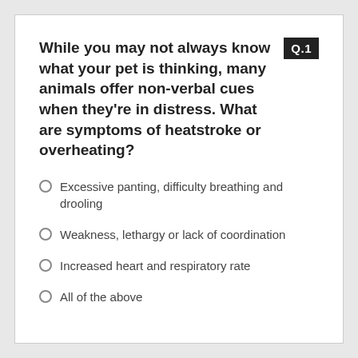While you may not always know what your pet is thinking, many animals offer non-verbal cues when they're in distress. What are symptoms of heatstroke or overheating?
Excessive panting, difficulty breathing and drooling
Weakness, lethargy or lack of coordination
Increased heart and respiratory rate
All of the above